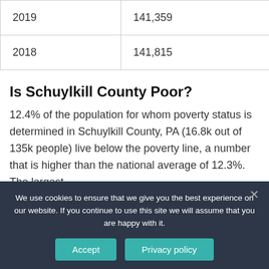| 2019 | 141,359 | -0.32% |
| 2018 | 141,815 | -0.54% |
Is Schuylkill County Poor?
12.4% of the population for whom poverty status is determined in Schuylkill County, PA (16.8k out of 135k people) live below the poverty line, a number that is higher than the national average of 12.3%. The largest
We use cookies to ensure that we give you the best experience on our website. If you continue to use this site we will assume that you are happy with it.